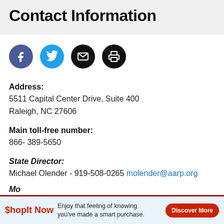Contact Information
[Figure (infographic): Four social/action icon circles: Facebook (blue-purple), Twitter (cyan), Email (black), Print (black)]
Address:
5511 Capital Center Drive, Suite 400
Raleigh, NC 27606
Main toll-free number:
866- 389-5650
State Director:
Michael Olender - 919-508-0265 molender@aarp.org
Mo
Lis
[Figure (infographic): Advertisement banner: ShopIt Now — Enjoy that feeling of knowing you've made a smart purchase. Discover More button.]